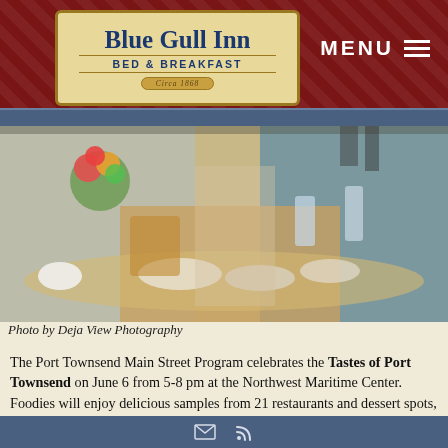[Figure (logo): Blue Gull Inn Bed & Breakfast logo on cream/tan background with dark border]
[Figure (photo): Indoor food tasting event; people reaching for food samples at a table with flowers; Photo by Deja View Photography]
Photo by Deja View Photography
The Port Townsend Main Street Program celebrates the Tastes of Port Townsend on June 6 from 5-8 pm at the Northwest Maritime Center. Foodies will enjoy delicious samples from 21 restaurants and dessert spots, breweries, wineries and cideries, plus tea and coffee businesses.
Email and RSS feed icons